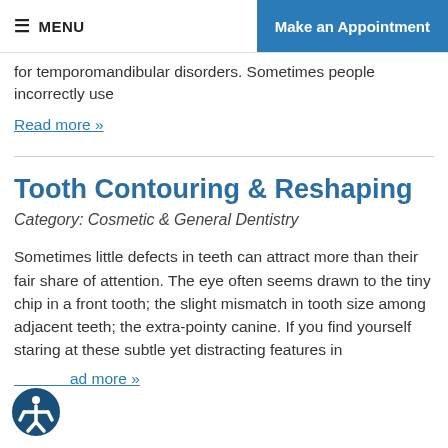MENU | Make an Appointment
for temporomandibular disorders. Sometimes people incorrectly use
Read more »
Tooth Contouring & Reshaping
Category: Cosmetic & General Dentistry
Sometimes little defects in teeth can attract more than their fair share of attention. The eye often seems drawn to the tiny chip in a front tooth; the slight mismatch in tooth size among adjacent teeth; the extra-pointy canine. If you find yourself staring at these subtle yet distracting features in
Read more »